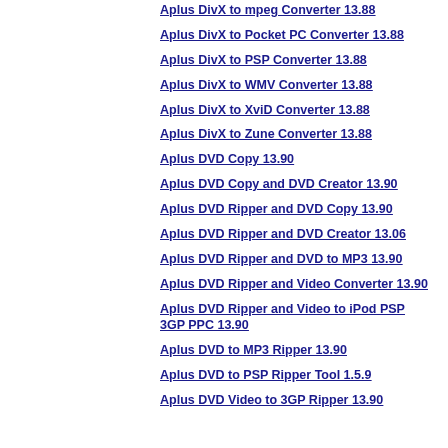Aplus DivX to mpeg Converter 13.88
Aplus DivX to Pocket PC Converter 13.88
Aplus DivX to PSP Converter 13.88
Aplus DivX to WMV Converter 13.88
Aplus DivX to XviD Converter 13.88
Aplus DivX to Zune Converter 13.88
Aplus DVD Copy 13.90
Aplus DVD Copy and DVD Creator 13.90
Aplus DVD Ripper and DVD Copy 13.90
Aplus DVD Ripper and DVD Creator 13.06
Aplus DVD Ripper and DVD to MP3 13.90
Aplus DVD Ripper and Video Converter 13.90
Aplus DVD Ripper and Video to iPod PSP 3GP PPC 13.90
Aplus DVD to MP3 Ripper 13.90
Aplus DVD to PSP Ripper Tool 1.5.9
Aplus DVD Video to 3GP Ripper 13.90